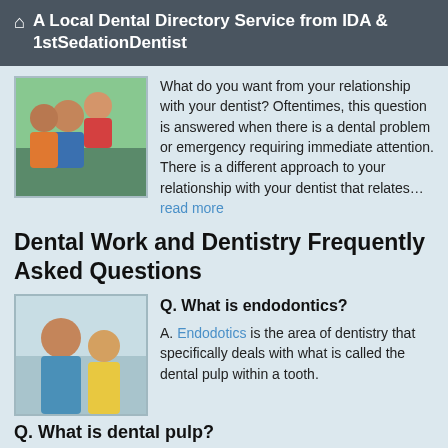A Local Dental Directory Service from IDA & 1stSedationDentist
[Figure (photo): Family photo with parents and child smiling outdoors]
What do you want from your relationship with your dentist? Oftentimes, this question is answered when there is a dental problem or emergency requiring immediate attention. There is a different approach to your relationship with your dentist that relates… read more
Dental Work and Dentistry Frequently Asked Questions
[Figure (photo): Mother and daughter smiling together]
Q. What is endodontics?
A. Endodotics is the area of dentistry that specifically deals with what is called the dental pulp within a tooth.
Q. What is dental pulp?
A. The dental pulp is a soft tissue comprised of tiny arteries, veins, nerves… read more